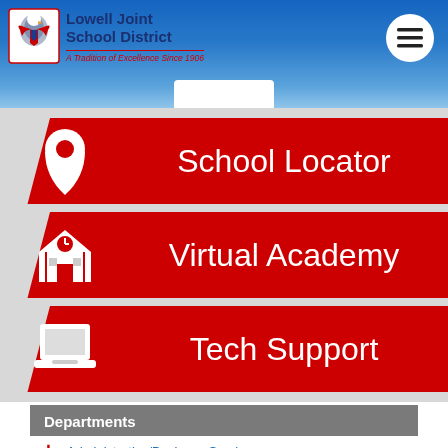[Figure (logo): Lowell Joint School District logo with eagle emblem and text]
Lowell Joint School District
A Tradition of Excellence Since 1906
School Locator
Virtual Academy
Tech Support
Departments
Administrative/Business Services
Educational Services